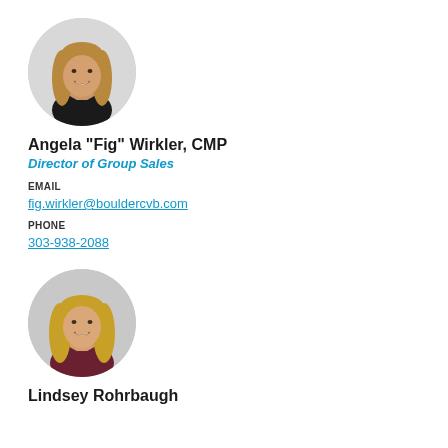[Figure (photo): Circular headshot photo of Angela Wirkler, a woman with long blonde/brown wavy hair, smiling, wearing dark clothing]
Angela "Fig" Wirkler, CMP
Director of Group Sales
EMAIL
fig.wirkler@bouldercvb.com
PHONE
303-938-2088
[Figure (photo): Circular headshot photo of Lindsey Rohrbaugh, a woman with long blonde hair, smiling, wearing dark clothing]
Lindsey Rohrbaugh